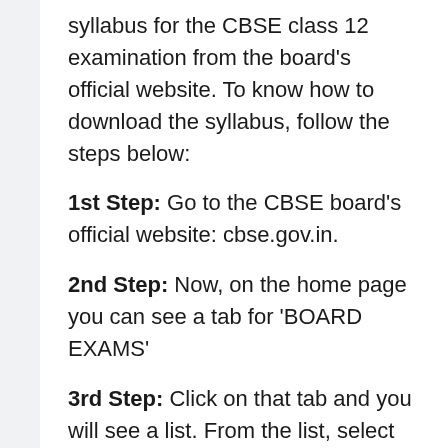syllabus for the CBSE class 12 examination from the board's official website. To know how to download the syllabus, follow the steps below:
1st Step: Go to the CBSE board's official website: cbse.gov.in.
2nd Step: Now, on the home page you can see a tab for 'BOARD EXAMS'
3rd Step: Click on that tab and you will see a list. From the list, select 'syllabus'.
4th Step: You will then be directed to the curriculum for the academic year page.